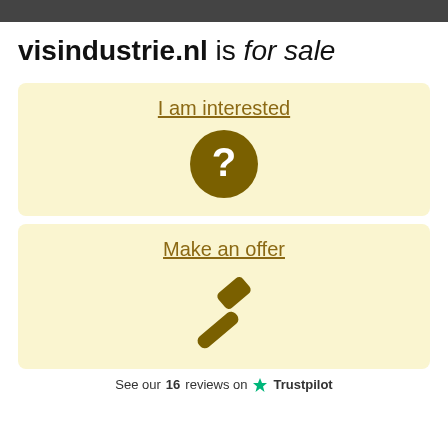visindustrie.nl is for sale
I am interested
[Figure (illustration): Dark olive/brown circle icon with white question mark]
Make an offer
[Figure (illustration): Dark olive/brown gavel/hammer icon]
See our 16 reviews on Trustpilot